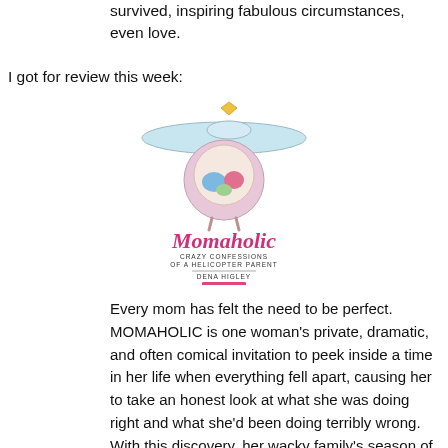survived, inspiring fabulous circumstances, even love.
I got for review this week:
[Figure (illustration): Book cover of 'Momaholic: Crazy Confessions of a Helicopter Parent' by Dena Higley. Features a cartoon illustration of a round character with a sombrero and a pink label at the bottom.]
Every mom has felt the need to be perfect. MOMAHOLIC is one woman's private, dramatic, and often comical invitation to peek inside a time in her life when everything fell apart, causing her to take an honest look at what she was doing right and what she'd been doing terribly wrong. With this discovery, her wacky family's season of